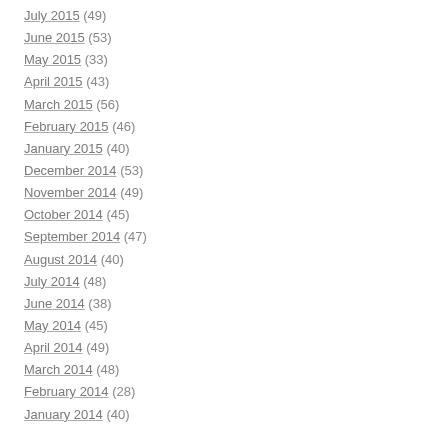July 2015 (49)
June 2015 (53)
May 2015 (33)
April 2015 (43)
March 2015 (56)
February 2015 (46)
January 2015 (40)
December 2014 (53)
November 2014 (49)
October 2014 (45)
September 2014 (47)
August 2014 (40)
July 2014 (48)
June 2014 (38)
May 2014 (45)
April 2014 (49)
March 2014 (48)
February 2014 (28)
January 2014 (40)